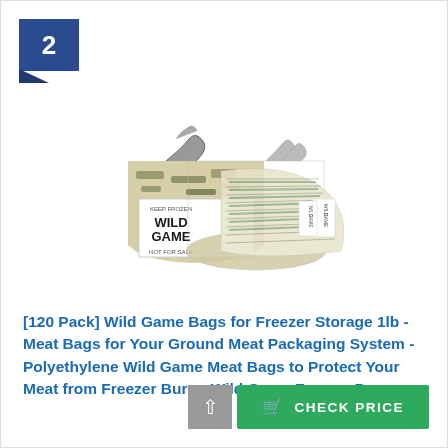2
[Figure (photo): Product photo of Wild Game Bags for Freezer Storage — a bundle of camo-patterned polyethylene bags tied at the top, labeled 'WILD GAME' and 'NOT FOR SALE', shown with multiple bags fanned out behind.]
[120 Pack] Wild Game Bags for Freezer Storage 1lb - Meat Bags for Your Ground Meat Packaging System - Polyethylene Wild Game Meat Bags to Protect Your Meat from Freezer Burn - Wild Game Freezer Bags
$14.99 ✓Prime
CHECK PRICE